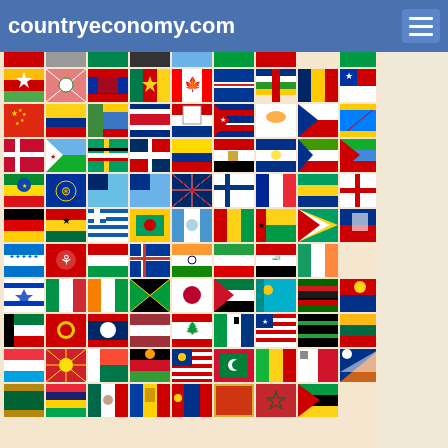countryeconomy.com
[Figure (infographic): Grid of world country flags from countryeconomy.com website, showing approximately 99 flags arranged in 9 columns and 11 rows covering countries alphabetically from B through S including Myanmar, Burundi, Cambodia, Cameroon, Canada, Cape Verde, Central African Republic, Chad, Chile, China, Colombia, Comoros, Costa Rica, Croatia, Cuba, Cyprus, Czech Republic, DR Congo, Denmark, Djibouti, Dominica, Dominican Republic, Ecuador, Egypt, El Salvador, Equatorial Guinea, Eritrea, Ethiopia, EU, Fiji, Falkland Islands, Finland, France, Gabon, Georgia, Germany, Ghana, Greece, Grenada, Guatemala, Guinea, Guinea-Bissau, Guyana, Haiti, Honduras, Hong Kong, Hungary, Iceland, India, Iran, Iraq, Ireland, Israel, Italy, Ivory Coast, Jamaica, Japan, Jordan, Kazakhstan, Kenya, Kiribati, Kuwait, Kyrgyzstan, Laos, Latvia, Lebanon, Lesotho, Liberia, Libya, Lithuania, Luxembourg, Macedonia, Madagascar, Malawi, Malaysia, Maldives, Mali, Malta, Marshall Islands, Mauritania, Mauritius, Mexico, Moldova, Mongolia, Montenegro, Morocco, Mozambique, Namibia, Nauru, Nepal, Netherlands, New Zealand, Nicaragua, Niger, Nigeria, North Korea, North Macedonia, Norway, Oman, Pakistan, Palau, Panama, Papua New Guinea, Paraguay, Peru, Philippines, Poland, Portugal, Qatar, Republic of Congo, Romania, Russia, Rwanda, Saint Kitts and Nevis, Saint Lucia, Saint Vincent, Samoa, Sao Tome, Saudi Arabia, Senegal, Serbia, Seychelles]